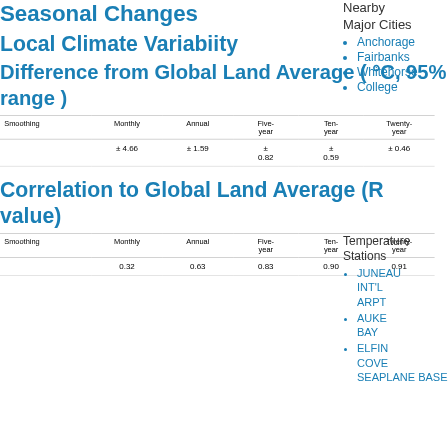Seasonal Changes
Local Climate Variabiity
Difference from Global Land Average ( °C, 95% range )
| Smoothing | Monthly | Annual | Five-year | Ten-year | Twenty-year |
| --- | --- | --- | --- | --- | --- |
|  | ± 4.66 | ± 1.59 | ± 0.82 | ± 0.59 | ± 0.46 |
Correlation to Global Land Average (R value)
| Smoothing | Monthly | Annual | Five-year | Ten-year | Twenty-year |
| --- | --- | --- | --- | --- | --- |
|  | 0.32 | 0.63 | 0.83 | 0.90 | 0.91 |
Nearby
Major Cities
Anchorage
Fairbanks
Whitehorse
College
Temperature
Stations
JUNEAU INT'L ARPT
AUKE BAY
ELFIN COVE SEAPLANE BASE